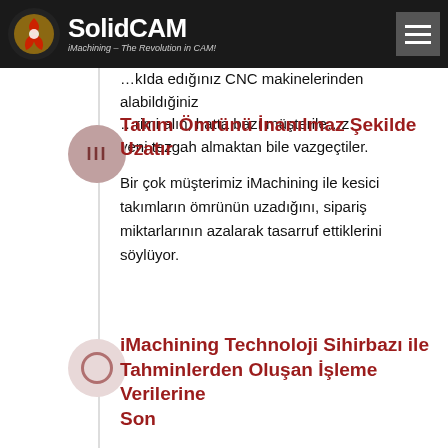SolidCAM — iMachining – The Revolution in CAM!
…kIda edığınız CNC makinelerinden alabildığiniz …rimi alın, hatta bazı müşterile…z yeni tezgah almaktan bile vazgeçtiler.
Takım Ömrünü İnanılmaz Şekilde Uzatır
Bir çok müşterimiz iMachining ile kesici takımların ömrünün uzadığını, sipariş miktarlarının azalarak tasarruf ettiklerini söylüyor.
iMachining Technoloji Sihirbazı ile Tahminlerden Oluşan İşleme Verilerine Son
Patentli iMachining Teknoloji Sihirbazı çok kısa ve basit programlama prosedürleri ile ilerleme ve kesme verileri elde edebileceğiniz üretkenliği artıran bir özelliktir. Şimdi, hemen deneyin.